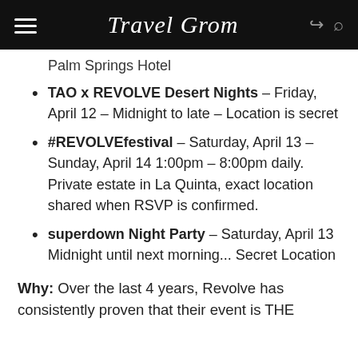Travel Grom
Palm Springs Hotel
TAO x REVOLVE Desert Nights – Friday, April 12 – Midnight to late – Location is secret
#REVOLVEfestival – Saturday, April 13 – Sunday, April 14 1:00pm – 8:00pm daily. Private estate in La Quinta, exact location shared when RSVP is confirmed.
superdown Night Party – Saturday, April 13 Midnight until next morning... Secret Location
Why: Over the last 4 years, Revolve has consistently proven that their event is THE